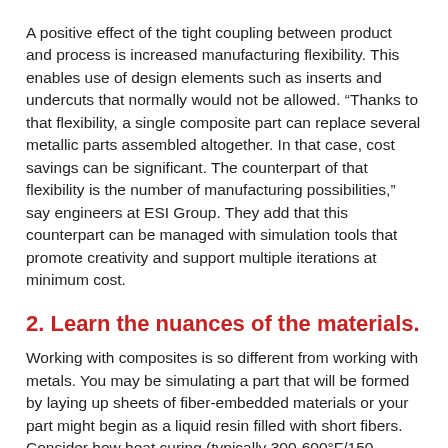A positive effect of the tight coupling between product and process is increased manufacturing flexibility. This enables use of design elements such as inserts and undercuts that normally would not be allowed. “Thanks to that flexibility, a single composite part can replace several metallic parts assembled altogether. In that case, cost savings can be significant. The counterpart of that flexibility is the number of manufacturing possibilities,” say engineers at ESI Group. They add that this counterpart can be managed with simulation tools that promote creativity and support multiple iterations at minimum cost.
2. Learn the nuances of the materials.
Working with composites is so different from working with metals. You may be simulating a part that will be formed by laying up sheets of fiber-embedded materials or your part might begin as a liquid resin filled with short fibers. Consider how heat curing (typically 300-600°F/150-315°C) will affect the final properties. Be sure to get high quality